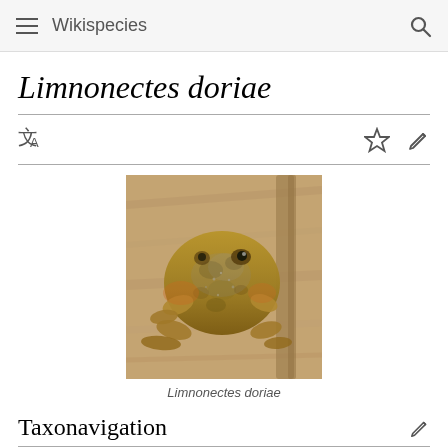Wikispecies
Limnonectes doriae
[Figure (photo): A golden-brown frog (Limnonectes doriae) sitting on a wooden surface, viewed from above. The frog has mottled dark spots on its back.]
Limnonectes doriae
Taxonavigation